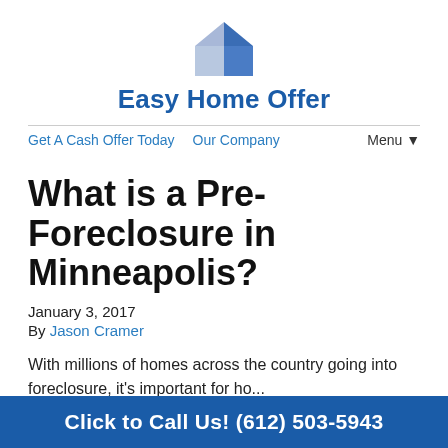[Figure (logo): Easy Home Offer house logo icon — two-toned blue geometric house shape]
Easy Home Offer
Get A Cash Offer Today   Our Company   Menu ▼
What is a Pre-Foreclosure in Minneapolis?
January 3, 2017
By Jason Cramer
With millions of homes across the country going into foreclosure, it's important for home...
Click to Call Us! (612) 503-5943